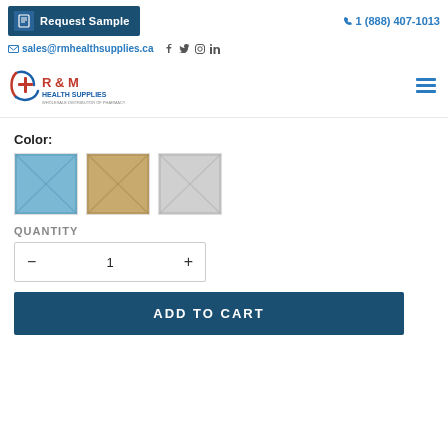[Figure (screenshot): Top header bar with Request Sample button, phone number 1 (888) 407-1013, email sales@rmhealthsupplies.ca, social icons (Facebook, Twitter, Instagram, LinkedIn), R&M Health Supplies logo, and hamburger menu icon]
Color:
[Figure (illustration): Three color swatches showing envelope images: blue, tan/gold, and light gray]
QUANTITY
1
ADD TO CART